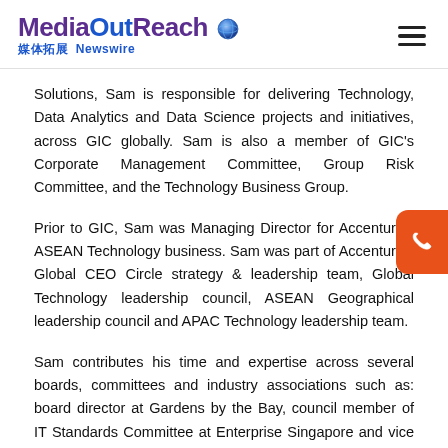MediaOutReach 媒体拓展 Newswire
Solutions, Sam is responsible for delivering Technology, Data Analytics and Data Science projects and initiatives, across GIC globally. Sam is also a member of GIC's Corporate Management Committee, Group Risk Committee, and the Technology Business Group.
Prior to GIC, Sam was Managing Director for Accenture's ASEAN Technology business. Sam was part of Accenture's Global CEO Circle strategy & leadership team, Global Technology leadership council, ASEAN Geographical leadership council and APAC Technology leadership team.
Sam contributes his time and expertise across several boards, committees and industry associations such as: board director at Gardens by the Bay, council member of IT Standards Committee at Enterprise Singapore and vice president at the Singapore Computer Society where he is one of and fall...